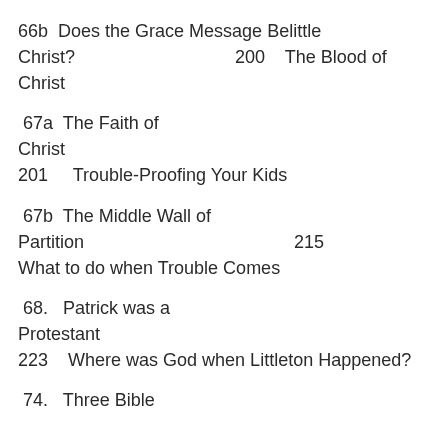66b  Does the Grace Message Belittle Christ?                    200    The Blood of Christ
67a  The Faith of Christ
201    Trouble-Proofing Your Kids
67b  The Middle Wall of Partition                                          215
What to do when Trouble Comes
68.   Patrick was a Protestant
223    Where was God when Littleton Happened?
74.   Three Bible